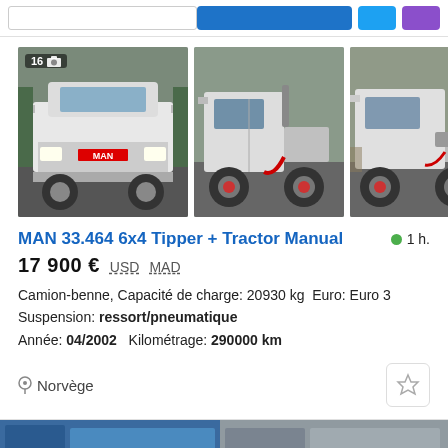[Figure (screenshot): Top navigation bar with search box and social/share buttons (blue, Twitter, purple)]
[Figure (photo): MAN 33.464 truck front view, white heavy truck, badge showing 16 photos]
[Figure (photo): MAN 33.464 truck rear/side view with tipper body]
[Figure (photo): MAN 33.464 tractor side view]
[Figure (map): Map thumbnail partially visible on right]
MAN 33.464 6x4 Tipper + Tractor Manual
1 h.
17 900 € USD MAD
Camion-benne, Capacité de charge: 20930 kg  Euro: Euro 3
Suspension: ressort/pneumatique
Année: 04/2002   Kilométrage: 290000 km
Norvège
[Figure (screenshot): Bottom strip showing partial thumbnails of another listing]